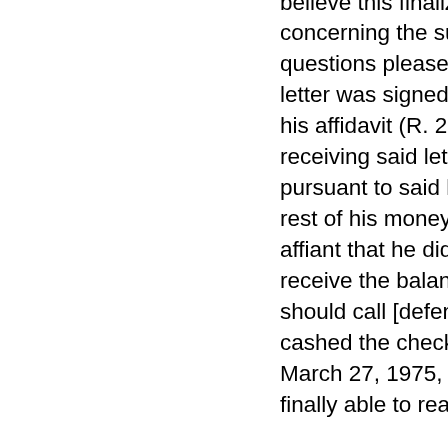believe this finalized [1] our arrangement concerning the subject. However, if you have any questions please feel free to contact me." The letter was signed by defendant's controller. By his affidavit (R. 20, 21) plaintiff averred that "after receiving said letter affiant called [the controller] pursuant to said letter, and inquired about the rest of his money, whereupon [the controller] told affiant that he did not know when plaintiff would receive the balance of his money, but that he should call [defendant's president]." Affiant cashed the check enclosed with the letter of March 27, 1975, immediately, and when he was finally able to reach the